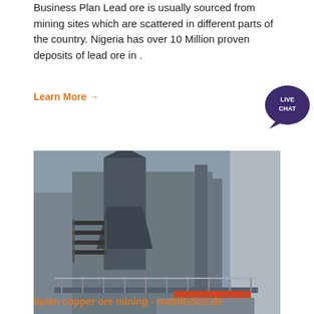Business Plan Lead ore is usually sourced from mining sites which are scattered in different parts of the country. Nigeria has over 10 Million proven deposits of lead ore in .
Learn More →
[Figure (photo): Industrial mining equipment facility with large metal structures, conveyor systems, staircases, and the ACRUSHER Mining Equipment logo at the bottom.]
bplan copper ore mining - mobilistico.de